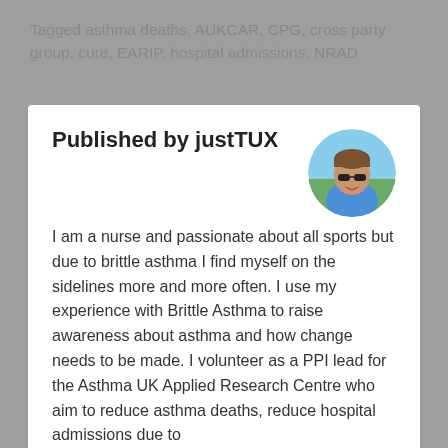Tagged asthma deaths, AUKCAR, CPG, cross party group, cure, EARIP, hospital admissions, NRAD
Published by justTUX
[Figure (photo): Circular avatar photo of a person wearing sunglasses and a blue top, outdoors]
I am a nurse and passionate about all sports but due to brittle asthma I find myself on the sidelines more and more often. I use my experience with Brittle Asthma to raise awareness about asthma and how change needs to be made. I volunteer as a PPI lead for the Asthma UK Applied Research Centre who aim to reduce asthma deaths, reduce hospital admissions due to